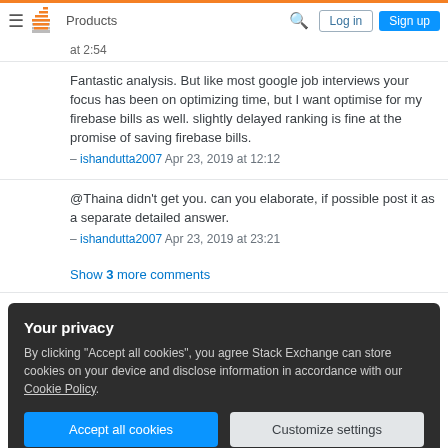≡ [Stack Overflow logo] Products 🔍 Log in Sign up
at 2:54
Fantastic analysis. But like most google job interviews your focus has been on optimizing time, but I want optimise for my firebase bills as well. slightly delayed ranking is fine at the promise of saving firebase bills. – ishandutta2007 Apr 23, 2019 at 12:12
@Thaina didn't get you. can you elaborate, if possible post it as a separate detailed answer. – ishandutta2007 Apr 23, 2019 at 23:21
Show 3 more comments
Your privacy
By clicking "Accept all cookies", you agree Stack Exchange can store cookies on your device and disclose information in accordance with our Cookie Policy.
Accept all cookies
Customize settings